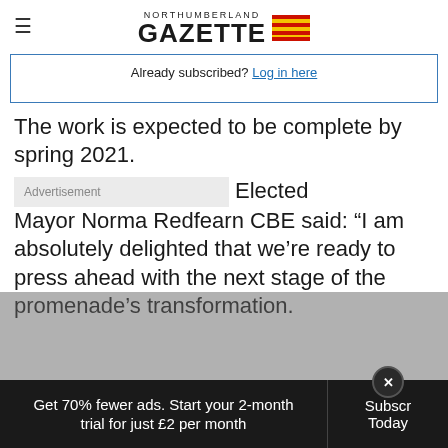NORTHUMBERLAND GAZETTE
Already subscribed? Log in here
The work is expected to be complete by spring 2021.
Elected Mayor Norma Redfearn CBE said: “I am absolutely delighted that we’re ready to press ahead with the next stage of the promenade’s transformation.
Get 70% fewer ads. Start your 2-month trial for just £2 per month  Subscribe Today